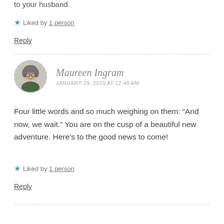to your husband.
★ Liked by 1 person
Reply
Maureen Ingram
JANUARY 29, 2020 AT 12:48 AM
Four little words and so much weighing on them: “And now, we wait.” You are on the cusp of a beautiful new adventure. Here’s to the good news to come!
★ Liked by 1 person
Reply